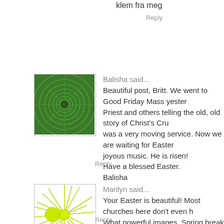klem fra meg
Reply
Balisha said...
Beautiful post, Britt. We went to Good Friday Mass yester Priest and others telling the old, old story of Christ's Cru was a very moving service. Now we are waiting for Easter joyous music. He is risen!
Have a blessed Easter.
Balisha
Reply
Marilyn said...
Your Easter is beautiful! Most churches here don't even h What powerful images. Spring break here is one week, bu
Reply